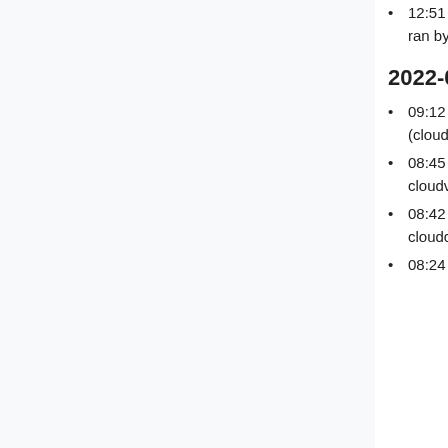12:51 wm-bot: Set cloudvirt 'cloudvirt1016.eqiad.wmnet' maintenance. (T305631) - cookbook ran by arturo@nostromo
2022-04-06
09:12 arturo: [codf1dev] installing python3-eventlet 0.30.2-5~bpo11+1 on all required servers (cloudvirt, cloudnet, cloudcontrol) (T305157)
08:45 arturo: [codfw1dev] trying with python3-eventlet 0.30.2-5 installed by hand on cloudvirt2003-dev (T305157)
08:42 arturo: [codfw1dev] trying with python3-eventlet 0.30.2-5 installed by hand on cloudcontrol servers (T305157)
08:24 arturo: [codfw1dev] trying with python3-dnspython 2.2.0-2 installed